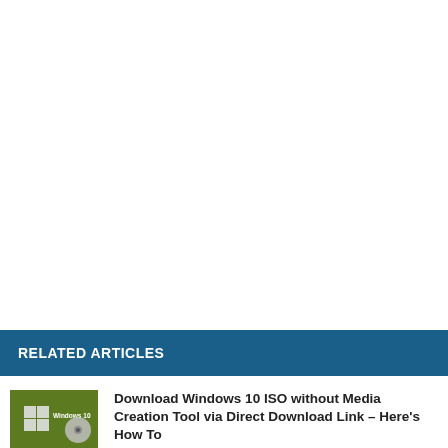RELATED ARTICLES
Download Windows 10 ISO without Media Creation Tool via Direct Download Link – Here's How To